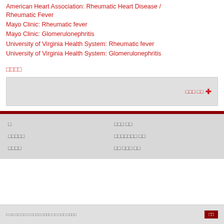American Heart Association: Rheumatic Heart Disease / Rheumatic Fever
Mayo Clinic: Rheumatic fever
Mayo Clinic: Glomerulonephritis
University of Virginia Health System: Rheumatic fever
University of Virginia Health System: Glomerulonephritis
□□□□
□□□ □□ +
□	□□□ □□
□□□□□	□□□□□□□ □□
□□□□	□□ □□□ □□